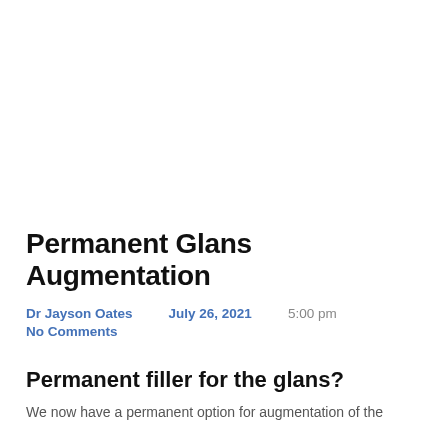Permanent Glans Augmentation
Dr Jayson Oates   July 26, 2021   5:00 pm
No Comments
Permanent filler for the glans?
We now have a permanent option for augmentation of the